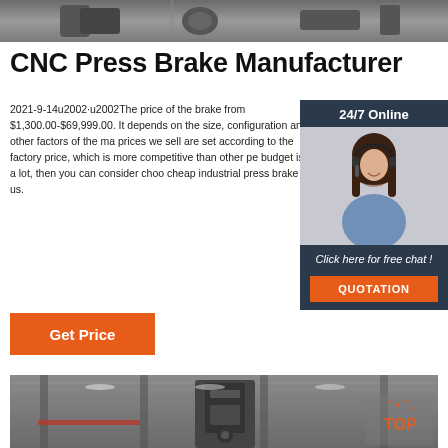[Figure (photo): Top grayscale photo of industrial machinery or press brake equipment]
CNC Press Brake Manufacturer
2021-9-14u2002·u2002The price of the brake from $1,300.00-$69,999.00. It depends on the size, configuration and other factors of the ma prices we sell are set according to the factory price, which is more competitive than other pe budget is not a lot, then you can consider choo cheap industrial press brake from us.
[Figure (photo): Sidebar with 24/7 Online support agent photo and call to action]
Get Price
[Figure (photo): Bottom grayscale photo of industrial press brake machine in factory]